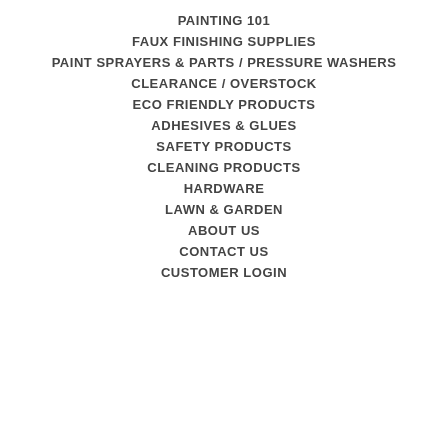PAINTING 101
FAUX FINISHING SUPPLIES
PAINT SPRAYERS & PARTS / PRESSURE WASHERS
CLEARANCE / OVERSTOCK
ECO FRIENDLY PRODUCTS
ADHESIVES & GLUES
SAFETY PRODUCTS
CLEANING PRODUCTS
HARDWARE
LAWN & GARDEN
ABOUT US
CONTACT US
CUSTOMER LOGIN